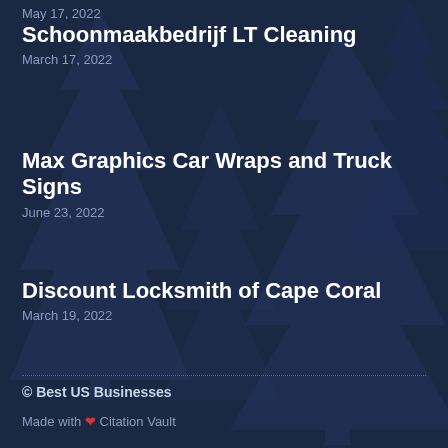May 17, 2022
Schoonmaakbedrijf LT Cleaning
March 17, 2022
Max Graphics Car Wraps and Truck Signs
June 23, 2022
Discount Locksmith of Cape Coral
March 19, 2022
© Best US Businesses
Made with ❤ Citation Vault